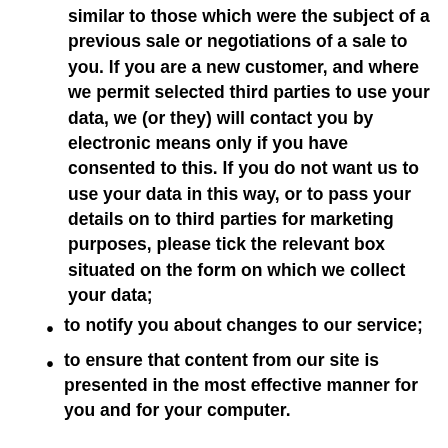similar to those which were the subject of a previous sale or negotiations of a sale to you. If you are a new customer, and where we permit selected third parties to use your data, we (or they) will contact you by electronic means only if you have consented to this. If you do not want us to use your data in this way, or to pass your details on to third parties for marketing purposes, please tick the relevant box situated on the form on which we collect your data;
to notify you about changes to our service;
to ensure that content from our site is presented in the most effective manner for you and for your computer.